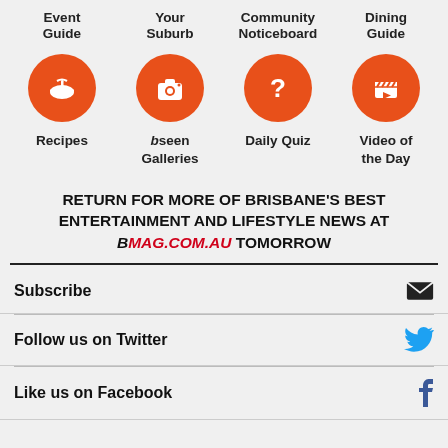[Figure (infographic): Four orange circle icons in a grid layout with labels: Event Guide (bowl/food icon), Your Suburb (camera icon), Community Noticeboard (question mark icon), Dining Guide (clapperboard icon), Recipes (bowl icon), bseen Galleries (camera icon), Daily Quiz (question mark icon), Video of the Day (clapperboard icon)]
RETURN FOR MORE OF BRISBANE'S BEST ENTERTAINMENT AND LIFESTYLE NEWS AT bmag.com.au TOMORROW
Subscribe
Follow us on Twitter
Like us on Facebook